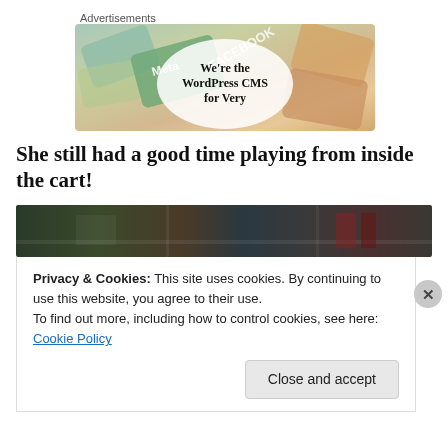Advertisements
[Figure (illustration): Advertisement banner showing colorful cards/tiles with Meta and Facebook logos, with an oval containing the text 'We're the WordPress CMS for Very']
She still had a good time playing from inside the cart!
[Figure (photo): Dark photo strip showing what appears to be a store or market interior with shelves]
Privacy & Cookies: This site uses cookies. By continuing to use this website, you agree to their use.
To find out more, including how to control cookies, see here: Cookie Policy
Close and accept